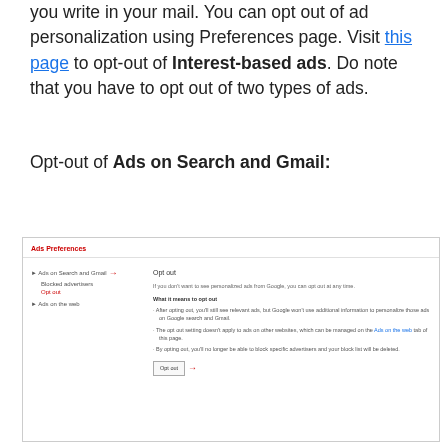you write in your mail. You can opt out of ad personalization using Preferences page. Visit this page to opt-out of Interest-based ads. Do note that you have to opt out of two types of ads.
Opt-out of Ads on Search and Gmail:
[Figure (screenshot): Screenshot of Google Ads Preferences page showing the opt-out interface for Ads on Search and Gmail, with left navigation panel and right panel explaining what opting out means, including bullet points and an Opt out button with a red arrow annotation.]